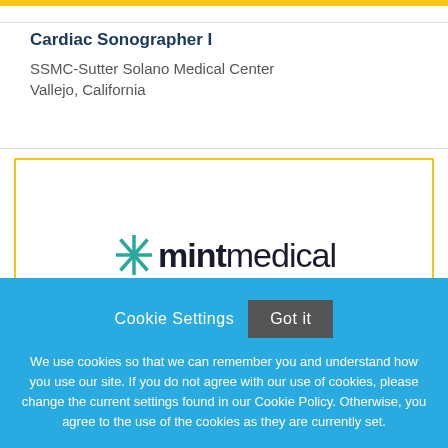Cardiac Sonographer I
SSMC-Sutter Solano Medical Center
Vallejo, California
[Figure (logo): mintmedical logo with teal asterisk/snowflake symbol followed by bold text 'mint' and regular text 'medical' in dark navy]
Cookie Settings   Got it
We use cookies so that we can remember you and understand how you use our site. If you do not agree with our use of cookies, please change the current settings found in our Cookie Policy. Otherwise, you agree to the use of the cookies as they are currently set.